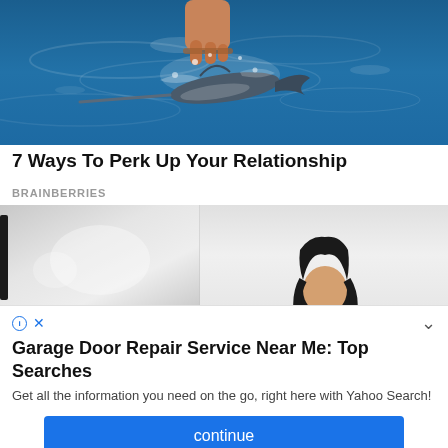[Figure (photo): A hand holding a small swordfish or marlin over blue ocean water, with splashing water around the fish.]
7 Ways To Perk Up Your Relationship
BRAINBERRIES
[Figure (photo): Two-panel photo: left panel shows a blurred grey background with soft light; right panel shows a person with long dark hair standing against a white wall.]
Garage Door Repair Service Near Me: Top Searches
Get all the information you need on the go, right here with Yahoo Search!
continue